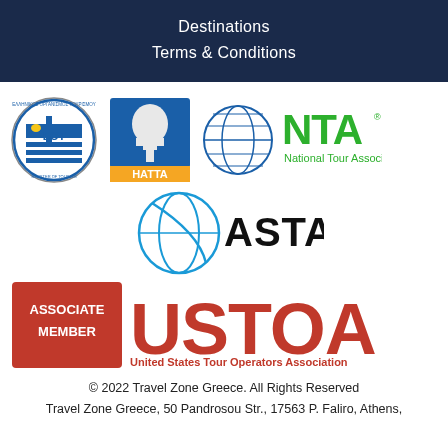Destinations
Terms & Conditions
[Figure (logo): EOT Greece Ministry of Tourism logo - circular seal with Greek flag and waves]
[Figure (logo): HATTA logo - blue square with Greek helmet figure and orange banner]
[Figure (logo): NTA National Tour Association logo - blue globe and green NTA text]
[Figure (logo): ASTA logo - blue globe outline with ASTA text]
[Figure (logo): USTOA Associate Member United States Tour Operators Association logo - red and dark red]
© 2022 Travel Zone Greece. All Rights Reserved
Travel Zone Greece, 50 Pandrosou Str., 17563 P. Faliro, Athens,